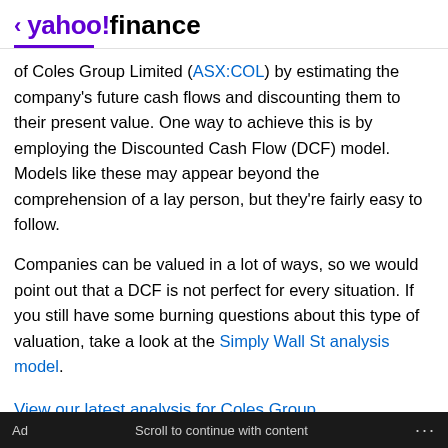< yahoo!finance
of Coles Group Limited (ASX:COL) by estimating the company's future cash flows and discounting them to their present value. One way to achieve this is by employing the Discounted Cash Flow (DCF) model. Models like these may appear beyond the comprehension of a lay person, but they're fairly easy to follow.
Companies can be valued in a lot of ways, so we would point out that a DCF is not perfect for every situation. If you still have some burning questions about this type of valuation, take a look at the Simply Wall St analysis model.
View our latest analysis for Coles Group
Ad   Scroll to continue with content   ...